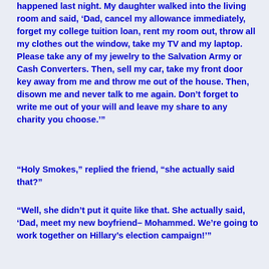happened last night. My daughter walked into the living room and said, ‘Dad, cancel my allowance immediately, forget my college tuition loan, rent my room out, throw all my clothes out the window, take my TV and my laptop. Please take any of my jewelry to the Salvation Army or Cash Converters. Then, sell my car, take my front door key away from me and throw me out of the house. Then, disown me and never talk to me again. Don’t forget to write me out of your will and leave my share to any charity you choose.’”
“Holy Smokes,” replied the friend, “she actually said that?”
“Well, she didn’t put it quite like that. She actually said, ‘Dad, meet my new boyfriend– Mohammed. We’re going to work together on Hillary’s election campaign!’”